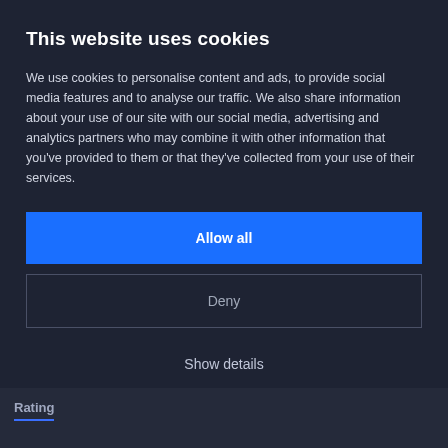This website uses cookies
We use cookies to personalise content and ads, to provide social media features and to analyse our traffic. We also share information about your use of our site with our social media, advertising and analytics partners who may combine it with other information that you've provided to them or that they've collected from your use of their services.
Allow all
Deny
Show details
Rating